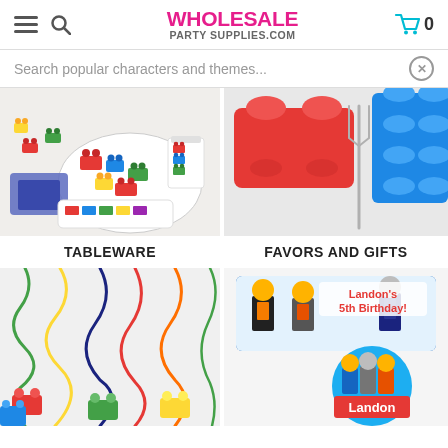WHOLESALE PARTY SUPPLIES.COM
Search popular characters and themes...
[Figure (photo): Lego-themed party tableware including plates, cups, and decorations with colorful brick designs]
[Figure (photo): Red and blue Lego-style building blocks on a white background]
TABLEWARE
FAVORS AND GIFTS
[Figure (photo): Colorful hanging swirl decorations with Lego brick shapes at the bottom in various colors]
[Figure (photo): Lego-themed personalized birthday candy bar wrapper saying Landon's 5th Birthday with Lego figures, and a personalized button badge saying Landon]